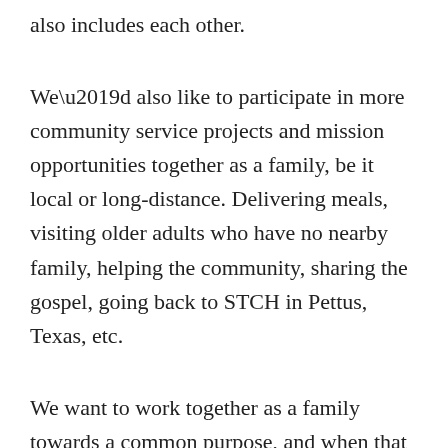also includes each other.
We’d also like to participate in more community service projects and mission opportunities together as a family, be it local or long-distance. Delivering meals, visiting older adults who have no nearby family, helping the community, sharing the gospel, going back to STCH in Pettus, Texas, etc.
We want to work together as a family towards a common purpose, and when that purpose is loving and serving Jesus and making Him known to the world, I believe it brings the family closer